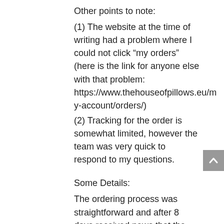Other points to note:
(1) The website at the time of writing had a problem where I could not click “my orders” (here is the link for anyone else with that problem: https://www.thehouseofpillows.eu/my-account/orders/)
(2) Tracking for the order is somewhat limited, however the team was very quick to respond to my questions.
Some Details:
The ordering process was straightforward and after 8 days received news that the pillow was